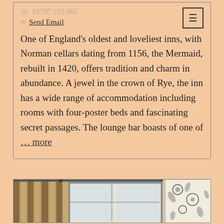📞 01797 223 065
✉ Send Email
One of England's oldest and loveliest inns, with Norman cellars dating from 1156, the Mermaid, rebuilt in 1420, offers tradition and charm in abundance. A jewel in the crown of Rye, the inn has a wide range of accommodation including rooms with four-poster beds and fascinating secret passages. The lounge bar boasts of one of … more
[Figure (photo): Interior photo of a hotel room showing striped curtains and floral wallpaper]